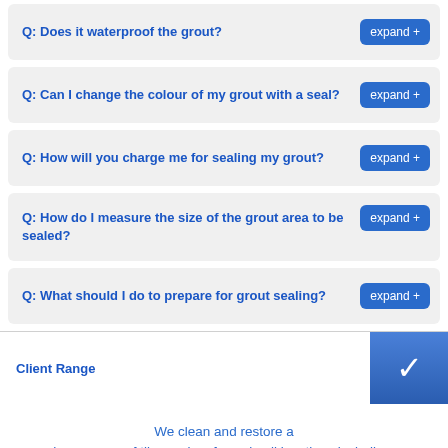Q: Does it waterproof the grout?
Q: Can I change the colour of my grout with a seal?
Q: How will you charge me for sealing my grout?
Q: How do I measure the size of the grout area to be sealed?
Q: What should I do to prepare for grout sealing?
Client Range
We clean and restore a huge range of tiles and surfaces in all locations including: Kitchens, Bathrooms, Showers, Swimming pools, Pool pavers, Restaurants, Cafés, Bars, Homes, Schools, Clinics, Hospitals, Companies, Offices